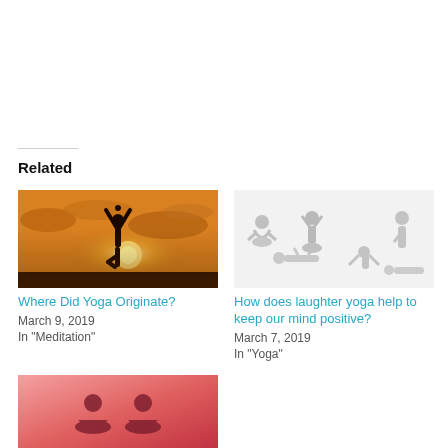Related
[Figure (photo): Silhouette of a person doing a tree yoga pose against a dramatic orange sunset sky with clouds]
Where Did Yoga Originate?
March 9, 2019
In "Meditation"
[Figure (photo): Faded light gray illustration of multiple people in various yoga/stretching poses on a white background]
How does laughter yoga help to keep our mind positive?
March 7, 2019
In "Yoga"
[Figure (photo): Two silhouettes of people meditating against a warm pinkish-red sunset background]